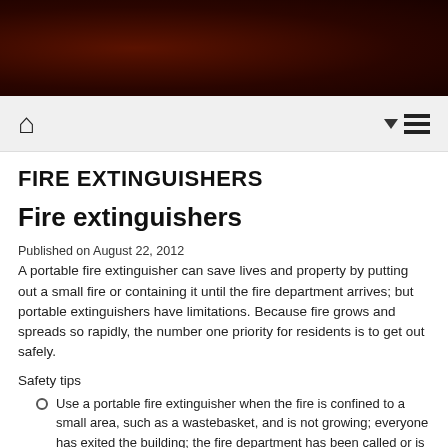[Figure (other): Dark reddish-brown textured header banner]
Home icon | Menu icon with dropdown arrow and hamburger lines
FIRE EXTINGUISHERS
Fire extinguishers
Published on August 22, 2012
A portable fire extinguisher can save lives and property by putting out a small fire or containing it until the fire department arrives; but portable extinguishers have limitations. Because fire grows and spreads so rapidly, the number one priority for residents is to get out safely.
Safety tips
Use a portable fire extinguisher when the fire is confined to a small area, such as a wastebasket, and is not growing; everyone has exited the building; the fire department has been called or is being called; and the you do not fill in the and the